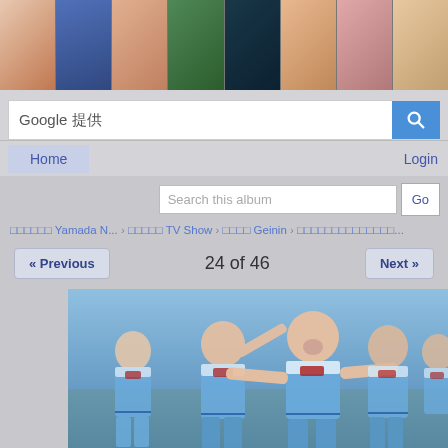[Figure (photo): Header strip with 8 small portrait photos of Japanese idol/celebrity]
Google 提供
Home
Login
Search this album
Go
□□□□□□ Yamada N... › □□□□□ TV Show › □□□□ Geinin › □□□□□□□□□□□□□□...
<< Previous
24 of 46
Next >>
[Figure (photo): Group of young Japanese women in matching light blue school uniform dresses with white collars and red bow ties, one posing with arms extended]